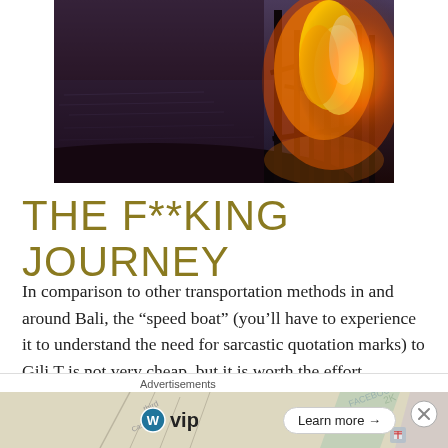[Figure (photo): A fire burning against a dark beach/water background at dusk or sunset, with flames visible on the right side and dark silhouetted branches or material burning.]
THE F**KING JOURNEY
In comparison to other transportation methods in and around Bali, the “speed boat” (you’ll have to experience it to understand the need for sarcastic quotation marks) to Gili T is not very cheap, but it is worth the effort.
Advertisements
[Figure (logo): WordPress VIP logo advertisement with a map background showing social media brand names (Facebook, etc.), and a Learn more button. A close (X) button appears to the right.]